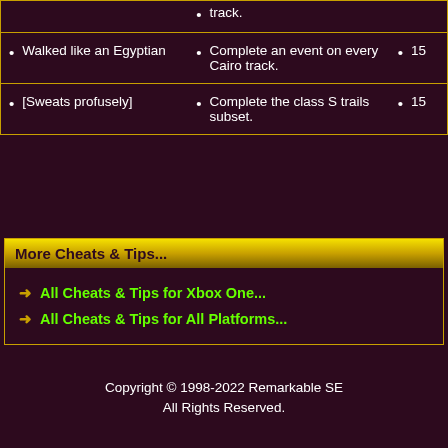track.
Walked like an Egyptian
Complete an event on every Cairo track.
15
[Sweats profusely]
Complete the class S trails subset.
15
More Cheats & Tips...
All Cheats & Tips for Xbox One...
All Cheats & Tips for All Platforms...
Copyright © 1998-2022 Remarkable SE
All Rights Reserved.